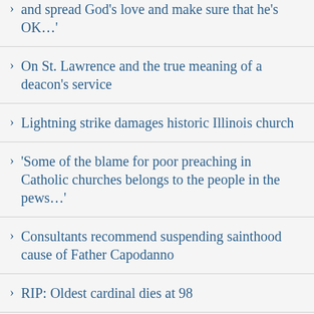and spread God's love and make sure that he's OK…'
On St. Lawrence and the true meaning of a deacon's service
Lightning strike damages historic Illinois church
'Some of the blame for poor preaching in Catholic churches belongs to the people in the pews…'
Consultants recommend suspending sainthood cause of Father Capodanno
RIP: Oldest cardinal dies at 98
'This isn't the only stop on the train':